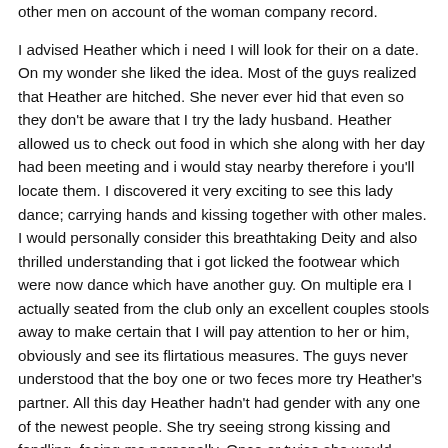other men on account of the woman company record.

I advised Heather which i need I will look for their on a date. On my wonder she liked the idea. Most of the guys realized that Heather are hitched. She never ever hid that even so they don't be aware that I try the lady husband. Heather allowed us to check out food in which she along with her day had been meeting and i would stay nearby therefore i you'll locate them. I discovered it very exciting to see this lady dance; carrying hands and kissing together with other males. I would personally consider this breathtaking Deity and also thrilled understanding that i got licked the footwear which were now dance which have another guy. On multiple era I actually seated from the club only an excellent couples stools away to make certain that I will pay attention to her or him, obviously and see its flirtatious measures. The guys never understood that the boy one or two feces more try Heather's partner. All this day Heather hadn't had gender with any one of the newest people. She try seeing strong kissing and fondling, facing me personally. Once or twice she would tease myself by the